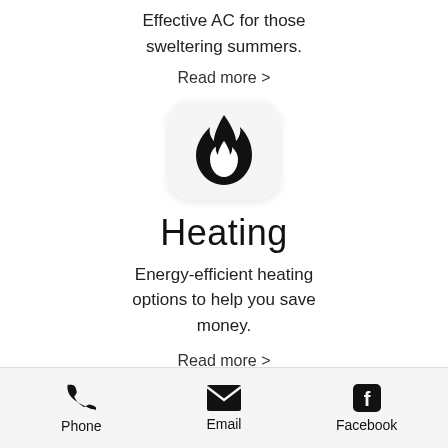Effective AC for those sweltering summers.
Read more >
[Figure (illustration): Flame icon inside a rounded square box]
Heating
Energy-efficient heating options to help you save money.
Read more >
Phone  Email  Facebook